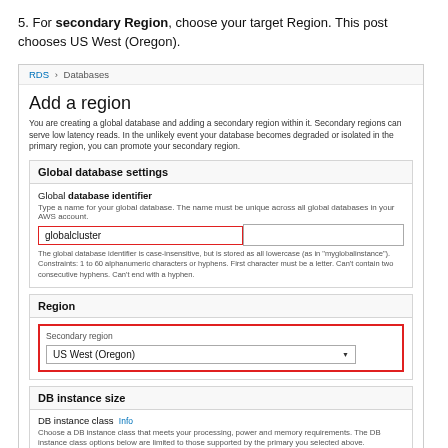5. For secondary Region, choose your target Region. This post chooses US West (Oregon).
[Figure (screenshot): AWS RDS console screenshot showing 'Add a region' page with breadcrumb 'RDS > Databases', page title 'Add a region', descriptive text about global database, Global database settings section with identifier field showing 'globalcluster' with red border, Region section with Secondary region dropdown showing 'US West (Oregon)' highlighted with red border, and DB instance size section with DB instance class field.]